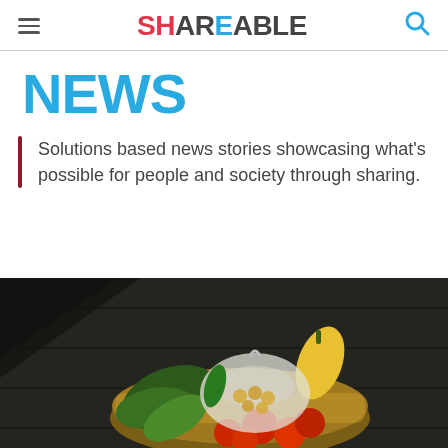SHAREABLE
NEWS
Solutions based news stories showcasing what's possible for people and society through sharing.
[Figure (photo): Overhead dark photo of a wicker basket filled with vegetables: tomatoes, leafy greens, a yellow pepper, and a plastic bag of small round items, placed on a dark wooden surface with what appears to be a smartphone or black tablet nearby.]